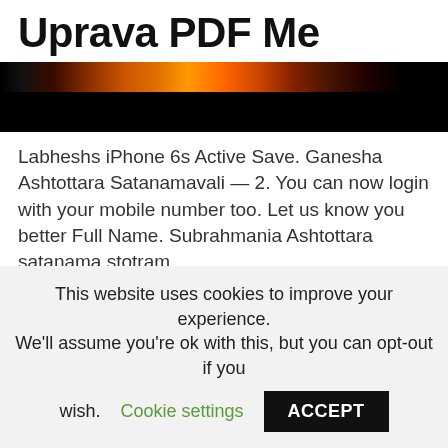Uprava PDF Me
[Figure (photo): Banner image with dark background and colorful illuminated decorative elements visible at top, fading to black at bottom]
Labheshs iPhone 6s Active Save. Ganesha Ashtottara Satanamavali — 2. You can now login with your mobile number too. Let us know you better Full Name. Subrahmania Ashtottara satanama stotram.
Shanmukha Pratimukha Satanamavali — 1. Create New Save OR.
This website uses cookies to improve your experience. We'll assume you're ok with this, but you can opt-out if you wish. Cookie settings ACCEPT